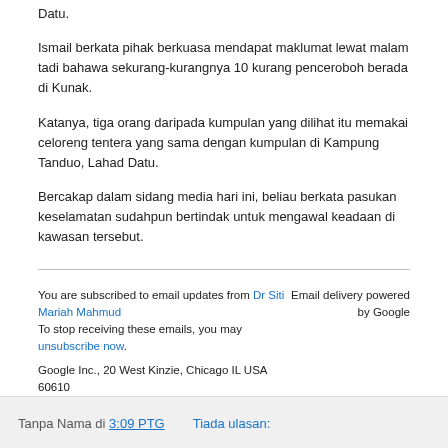Datu.
Ismail berkata pihak berkuasa mendapat maklumat lewat malam tadi bahawa sekurang-kurangnya 10 kurang penceroboh berada di Kunak.
Katanya, tiga orang daripada kumpulan yang dilihat itu memakai celoreng tentera yang sama dengan kumpulan di Kampung Tanduo, Lahad Datu.
Bercakap dalam sidang media hari ini, beliau berkata pasukan keselamatan sudahpun bertindak untuk mengawal keadaan di kawasan tersebut.
You are subscribed to email updates from Dr Siti Mariah Mahmud
To stop receiving these emails, you may unsubscribe now.
Google Inc., 20 West Kinzie, Chicago IL USA 60610
Email delivery powered by Google
Tanpa Nama di 3:09 PTG    Tiada ulasan: